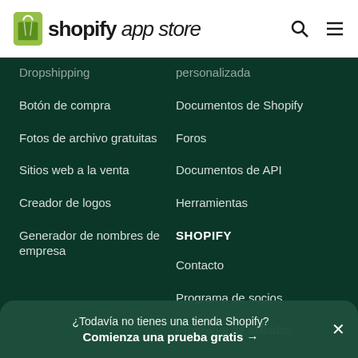[Figure (logo): Shopify App Store logo with shopping bag icon and wordmark]
Dropshipping
Botón de compra
Fotos de archivo gratuitas
Sitios web a la venta
Creador de logos
Generador de nombres de empresa
Atención al cliente personalizada
Documentos de Shopify
Foros
Documentos de API
Herramientas
SHOPIFY
Contacto
Programa de socios
Programa de afiliados
Inversionistas
¿Todavía no tienes una tienda Shopify?
Comienza una prueba gratis →